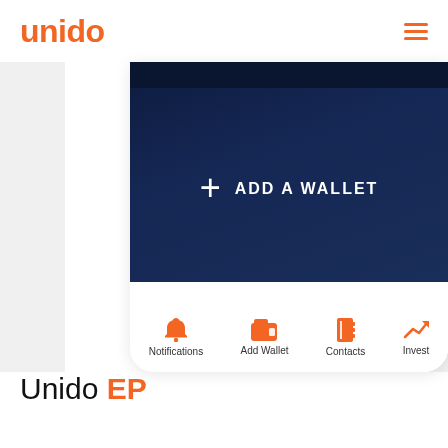unido
[Figure (screenshot): Mobile app screenshot showing a dark blue 'ADD A WALLET' screen with a plus icon and text, and a bottom navigation bar with Notifications, Add Wallet, Contacts, and Invest icons in orange]
Unido EP